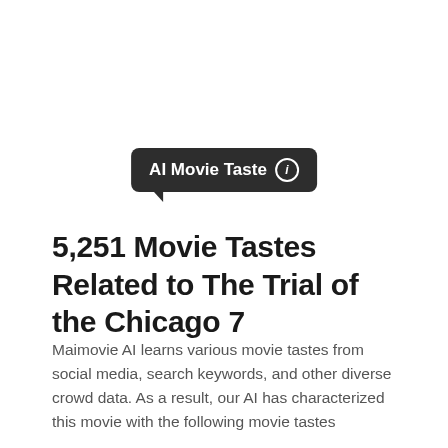[Figure (other): Dark rounded rectangle badge/tooltip label reading 'AI Movie Taste' with an info icon (circled i), with a small speech-bubble tail at bottom-left]
5,251 Movie Tastes Related to The Trial of the Chicago 7
Maimovie AI learns various movie tastes from social media, search keywords, and other diverse crowd data. As a result, our AI has characterized this movie with the following movie tastes